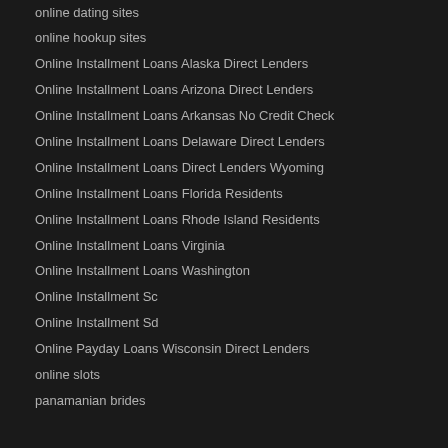online dating sites
online hookup sites
Online Installment Loans Alaska Direct Lenders
Online Installment Loans Arizona Direct Lenders
Online Installment Loans Arkansas No Credit Check
Online Installment Loans Delaware Direct Lenders
Online Installment Loans Direct Lenders Wyoming
Online Installment Loans Florida Residents
Online Installment Loans Rhode Island Residents
Online Installment Loans Virginia
Online Installment Loans Washington
Online Installment Sc
Online Installment Sd
Online Payday Loans Wisconsin Direct Lenders
online slots
panamanian brides